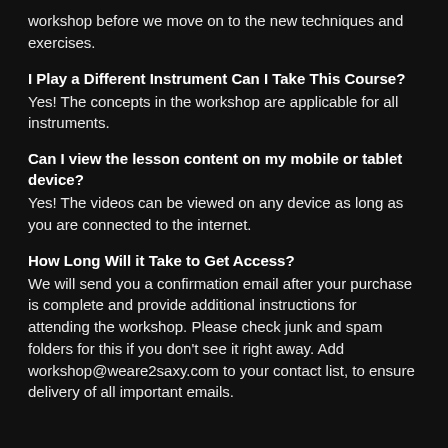workshop before we move on to the new techniques and exercises.
I Play a Different Instrument Can I Take This Course?
Yes! The concepts in the workshop are applicable for all instruments.
Can I view the lesson content on my mobile or tablet device?
Yes! The videos can be viewed on any device as long as you are connected to the internet.
How Long Will it Take to Get Access?
We will send you a confirmation email after your purchase is complete and provide additional instructions for attending the workshop. Please check junk and spam folders for this if you don't see it right away. Add workshop@weare2saxy.com to your contact list, to ensure delivery of all important emails.